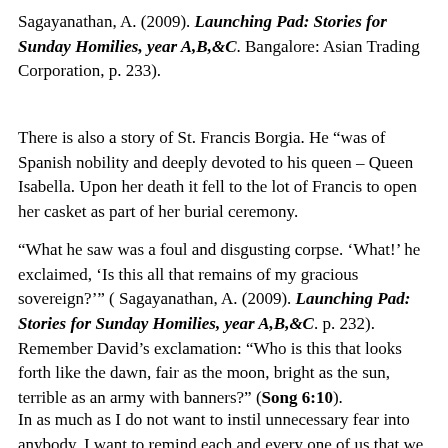Sagayanathan, A. (2009). Launching Pad: Stories for Sunday Homilies, year A,B,&C. Bangalore: Asian Trading Corporation, p. 233).
There is also a story of St. Francis Borgia. He “was of Spanish nobility and deeply devoted to his queen – Queen Isabella. Upon her death it fell to the lot of Francis to open her casket as part of her burial ceremony.
“What he saw was a foul and disgusting corpse. ‘What!’ he exclaimed, ‘Is this all that remains of my gracious sovereign?’” ( Sagayanathan, A. (2009). Launching Pad: Stories for Sunday Homilies, year A,B,&C. p. 232). Remember David’s exclamation: “Who is this that looks forth like the dawn, fair as the moon, bright as the sun, terrible as an army with banners?” (Song 6:10).
In as much as I do not want to instil unnecessary fear into anybody, I want to remind each and every one of us that we shall all leave this world with nothing not even